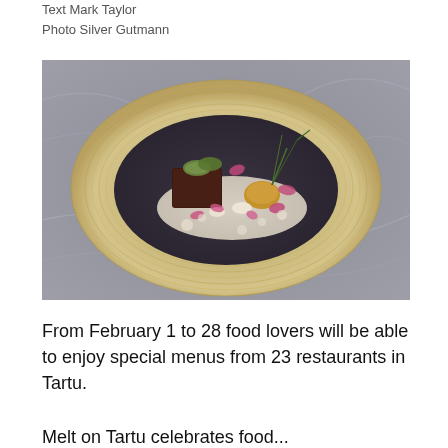Text Mark Taylor
Photo Silver Gutmann
[Figure (photo): An elegantly plated fine dining dish on a round gold-rimmed dark plate, featuring a chocolate terrine or meat portion topped with grilled zucchini, pink flower petals, green herbs, and a creamy white sauce, on a grey fabric background.]
From February 1 to 28 food lovers will be able to enjoy special menus from 23 restaurants in Tartu.
Melt on Tartu celebrates food...